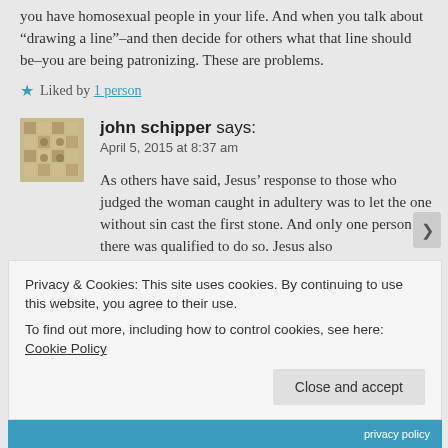you have homosexual people in your life. And when you talk about “drawing a line”–and then decide for others what that line should be–you are being patronizing. These are problems.
★ Liked by 1 person
john schipper says: April 5, 2015 at 8:37 am
As others have said, Jesus’ response to those who judged the woman caught in adultery was to let the one without sin cast the first stone. And only one person there was qualified to do so. Jesus also
Privacy & Cookies: This site uses cookies. By continuing to use this website, you agree to their use.
To find out more, including how to control cookies, see here: Cookie Policy
Close and accept